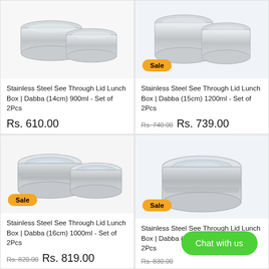[Figure (photo): Two stainless steel see-through lid lunch boxes (14cm), top crop view]
Stainless Steel See Through Lid Lunch Box | Dabba (14cm) 900ml - Set of 2Pcs
Rs. 610.00
[Figure (photo): Two stainless steel see-through lid lunch boxes (15cm) with Sale badge]
Stainless Steel See Through Lid Lunch Box | Dabba (15cm) 1200ml - Set of 2Pcs
Rs. 740.00 Rs. 739.00
[Figure (photo): Two stainless steel see-through lid lunch boxes (16cm) with Sale badge]
Stainless Steel See Through Lid Lunch Box | Dabba (16cm) 1000ml - Set of 2Pcs
Rs. 820.00 Rs. 819.00
[Figure (photo): Stainless steel see-through lid lunch box (19cm) with Sale badge, partial view]
Stainless Steel See Through Lid Lunch Box | Dabba (19cm) 1700ml - Set of 2Pcs
Rs. 830.00